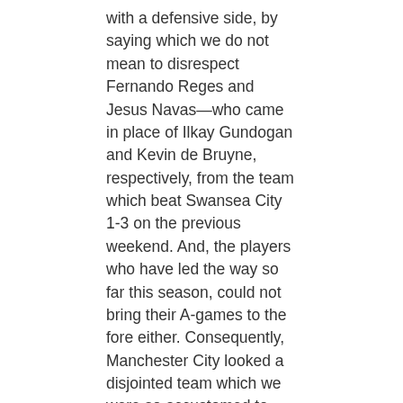with a defensive side, by saying which we do not mean to disrespect Fernando Reges and Jesus Navas—who came in place of Ilkay Gundogan and Kevin de Bruyne, respectively, from the team which beat Swansea City 1-3 on the previous weekend. And, the players who have led the way so far this season, could not bring their A-games to the fore either. Consequently, Manchester City looked a disjointed team which we were so accustomed to seeing last season, under Manuel Pellegrini.
On that note, a related article you must read:
What Should Have Been Manchester City's Starting XI v Spurs?
Although you can say that a below par performance was due from Manchester City,